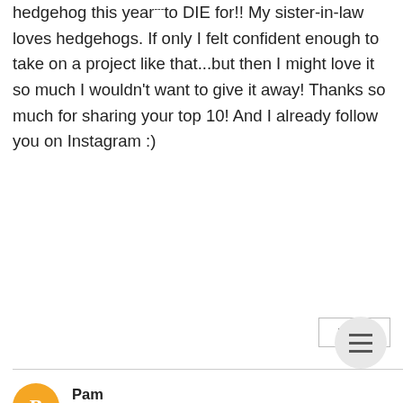hedgehog this year---to DIE for!! My sister-in-law loves hedgehogs. If only I felt confident enough to take on a project like that...but then I might love it so much I wouldn't want to give it away! Thanks so much for sharing your top 10! And I already follow you on Instagram :)
Reply
Pam
December 29, 2016 at 11:41 AM
I love the hedgehog and the apothecary labels !!!
snowdraak